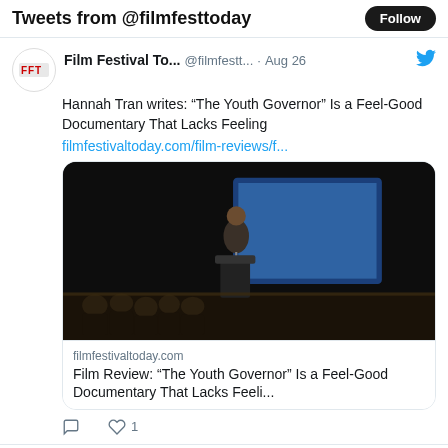Tweets from @filmfesttoday
Film Festival To... @filmfestt... · Aug 26
Hannah Tran writes: “The Youth Governor” Is a Feel-Good Documentary That Lacks Feeling
filmfestivaltoday.com/film-reviews/f...
[Figure (screenshot): Photo of a person in a suit speaking at a podium on a dark stage, with audience members seated in the background and a blue-lit screen behind the speaker.]
filmfestivaltoday.com
Film Review: “The Youth Governor” Is a Feel-Good Documentary That Lacks Feeli...
1